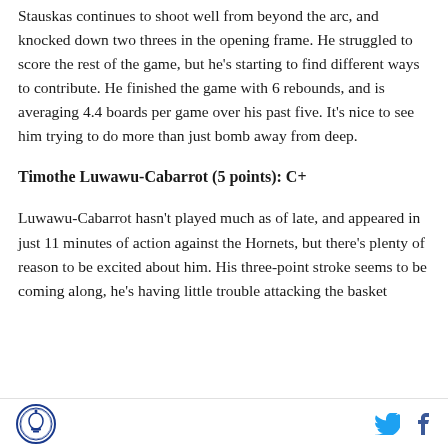Stauskas continues to shoot well from beyond the arc, and knocked down two threes in the opening frame. He struggled to score the rest of the game, but he's starting to find different ways to contribute. He finished the game with 6 rebounds, and is averaging 4.4 boards per game over his past five. It's nice to see him trying to do more than just bomb away from deep.
Timothe Luwawu-Cabarrot (5 points): C+
Luwawu-Cabarrot hasn't played much as of late, and appeared in just 11 minutes of action against the Hornets, but there's plenty of reason to be excited about him. His three-point stroke seems to be coming along, he's having little trouble attacking the basket
[logo] [twitter] [facebook]